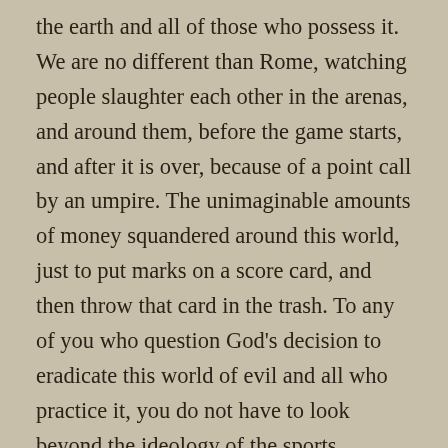the earth and all of those who possess it. We are no different than Rome, watching people slaughter each other in the arenas, and around them, before the game starts, and after it is over, because of a point call by an umpire. The unimaginable amounts of money squandered around this world, just to put marks on a score card, and then throw that card in the trash. To any of you who question God's decision to eradicate this world of evil and all who practice it, you do not have to look beyond the ideology of the sports mentality for the justification. There is nothing of merit that comes from sports. Nothing of any lasting value that comes from sports. Nothing that is beneficial, to the individual or to society, that comes from sports. Tell me please if you can, at the end of the game what is there to show for such an obscene investment. Recently I read of one single player signing a contract for 300 million dollars, one man, to